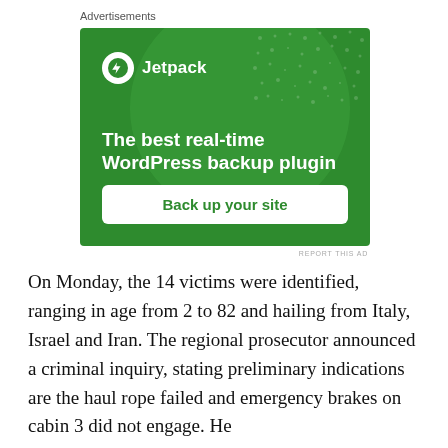Advertisements
[Figure (illustration): Jetpack advertisement banner with green background, large decorative circle, dot pattern, Jetpack logo and name at top left, headline 'The best real-time WordPress backup plugin', and a white 'Back up your site' button.]
REPORT THIS AD
On Monday, the 14 victims were identified, ranging in age from 2 to 82 and hailing from Italy, Israel and Iran. The regional prosecutor announced a criminal inquiry, stating preliminary indications are the haul rope failed and emergency brakes on cabin 3 did not engage. He